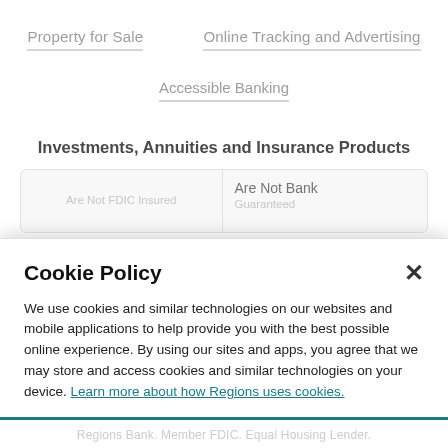Property for Sale
Online Tracking and Advertising
Accessible Banking
Investments, Annuities and Insurance Products
Are Not FDIC Insured
Are Not Bank Guaranteed
Cookie Policy
We use cookies and similar technologies on our websites and mobile applications to help provide you with the best possible online experience. By using our sites and apps, you agree that we may store and access cookies and similar technologies on your device. Learn more about how Regions uses cookies.
I Understand